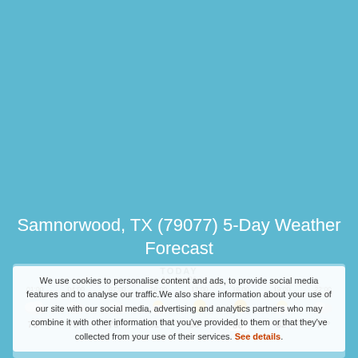Samnorwood, TX (79077) 5-Day Weather Forecast
We use cookies to personalise content and ads, to provide social media features and to analyse our traffic. We also share information about your use of our site with our social media, advertising and analytics partners who may combine it with other information that you've provided to them or that they've collected from your use of their services. See details.
[Figure (infographic): Hourly weather forecast strip for today showing times 01:00 through 22:00, weather icons (cloudy, partly cloudy, sunny), and temperatures: 76°, 73°, 73°, 81°, 86°, 86° (highlighted), 82°, 77°]